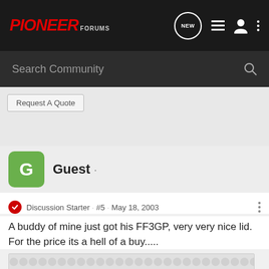PIONEER forums
Search Community
Request A Quote
Guest ·
Discussion Starter · #5 · May 18, 2003
A buddy of mine just got his FF3GP, very very nice lid. For the price its a hell of a buy.....
[Figure (other): Advertisement banner with circular dot pattern in light gray]